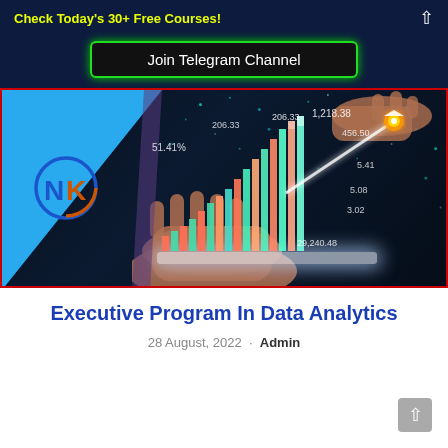Check Today's 30+ Free Courses!
Join Telegram Channel
[Figure (photo): Hero banner image showing hands holding a tablet with holographic data analytics charts and graphs rising upward with glowing arrow, NK logo on blue left panel, financial figures floating: 51.41%, 206.33, 1,218.38, 456.50, 5.41, 5.08, 3.02, 29,240.48]
Executive Program In Data Analytics
28 August, 2022 · Admin